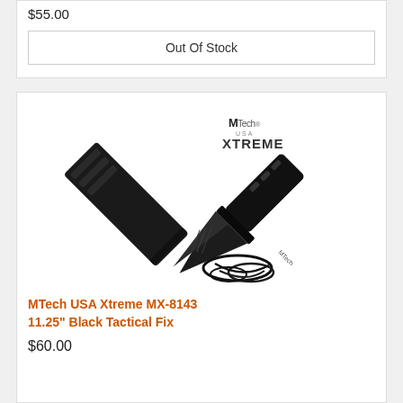$55.00
Out Of Stock
[Figure (photo): MTech USA Xtreme tactical knife with black blade crossed with black sheath and paracord]
MTech USA Xtreme MX-8143 11.25" Black Tactical Fix
$60.00